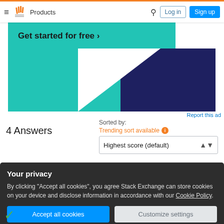≡  [Stack Overflow logo]  Products  🔍  Log in  Sign up
[Figure (screenshot): Stack Overflow advertisement banner with teal and dark navy background shapes and text 'Get started for free ›']
Report this ad
4 Answers
Sorted by:
Trending sort available ℹ
Highest score (default)
Your privacy
By clicking "Accept all cookies", you agree Stack Exchange can store cookies on your device and disclose information in accordance with our Cookie Policy.
Accept all cookies   Customize settings